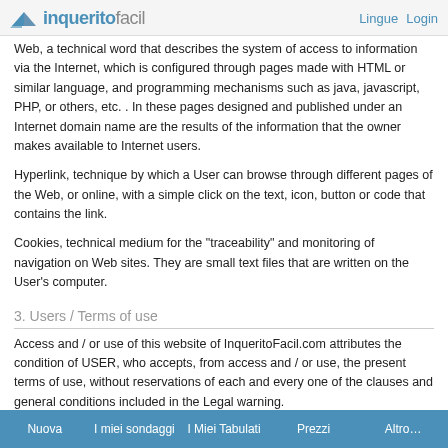inqueritofacil   Lingue  Login
Web, a technical word that describes the system of access to information via the Internet, which is configured through pages made with HTML or similar language, and programming mechanisms such as java, javascript, PHP, or others, etc. . In these pages designed and published under an Internet domain name are the results of the information that the owner makes available to Internet users.
Hyperlink, technique by which a User can browse through different pages of the Web, or online, with a simple click on the text, icon, button or code that contains the link.
Cookies, technical medium for the "traceability" and monitoring of navigation on Web sites. They are small text files that are written on the User's computer.
3. Users / Terms of use
Access and / or use of this website of InqueritoFacil.com attributes the condition of USER, who accepts, from access and / or use, the present terms of use, without reservations of each and every one of the clauses and general conditions included in the Legal warning.
If the User is not satisfied with the clauses and conditions of use of this Legal
Nuova   I miei sondaggi   I Miei Tabulati   Prezzi   Altro...